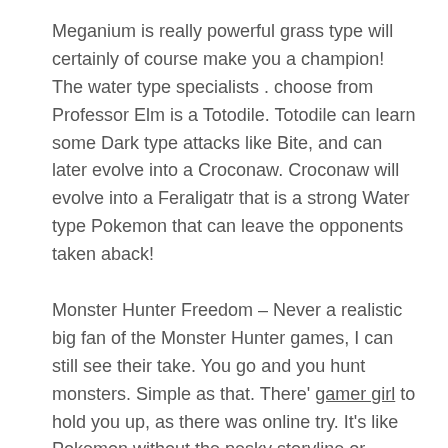Meganium is really powerful grass type will certainly of course make you a champion! The water type specialists . choose from Professor Elm is a Totodile. Totodile can learn some Dark type attacks like Bite, and can later evolve into a Croconaw. Croconaw will evolve into a Feraligatr that is a strong Water type Pokemon that can leave the opponents taken aback!
Monster Hunter Freedom – Never a realistic big fan of the Monster Hunter games, I can still see their take. You go and you hunt monsters. Simple as that. There' gamer girl to hold you up, as there was online try. It's like Pokemon without the pesky storyline or motivation.
This is actually simply an illustration of a simple Pokemon bankcard. You can make your card in different shapes (a circle even? or a Magnemite shaped minute card?) using different pokemons. Be creative in making your exclusive pokemon card and more importantly, enjoy doing that it. Remember, it is your